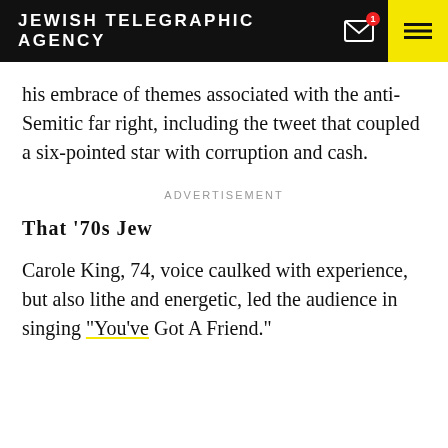JEWISH TELEGRAPHIC AGENCY
his embrace of themes associated with the anti-Semitic far right, including the tweet that coupled a six-pointed star with corruption and cash.
ADVERTISEMENT
That ’70s Jew
Carole King, 74, voice caulked with experience, but also lithe and energetic, led the audience in singing “You’ve Got A Friend.”